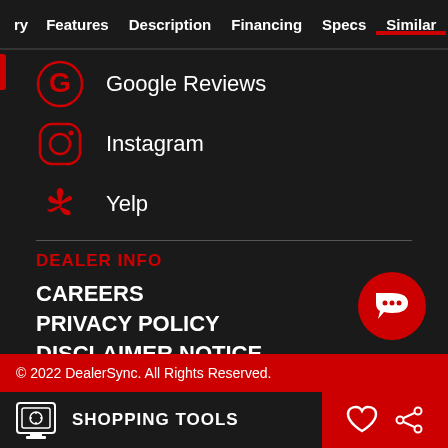ry | Features | Description | Financing | Specs | Similar
Google Reviews
Instagram
Yelp
DEALER INFO
CAREERS
PRIVACY POLICY
DISCLAIMER NOTICE
© 2022 DealerSync. All Rights Reserved.
SHOPPING TOOLS